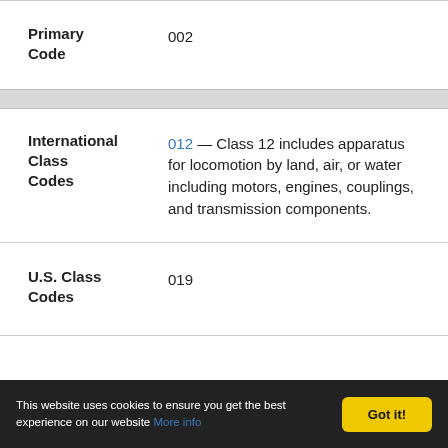| Field | Value |
| --- | --- |
| Primary Code | 002 |
| International Class Codes | 012 — Class 12 includes apparatus for locomotion by land, air, or water including motors, engines, couplings, and transmission components. |
| U.S. Class Codes | 019 |
This website uses cookies to ensure you get the best experience on our website More info Got it!